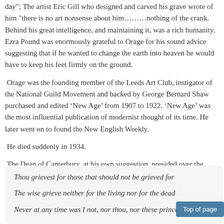day";  The artist Eric Gill who designed and carved his grave wrote of him "there is no art nonsense about him………nothing of the crank. Behind his great intelligence, and maintaining it, was a rich humanity.  Ezra Pound was enormously grateful to Orage for his sound advice suggesting that if he wanted to change the earth into heaven he would have to keep his feet firmly on the ground.
Orage was the founding member of the Leeds Art Club, instigator of the National Guild Movement and backed by George Bernard Shaw purchased and edited ‘New Age’ from 1907 to 1922. ‘New Age’ was the most influential publication of modernist thought of its time. He later went on to found the New English Weekly.
He died suddenly in 1934.
The Dean of Canterbury, at his own suggestion, presided over the service at St John’s Hampstead attended by hundreds of mourners .
The words of Krishna to Arjurna found in the Bhagavad Gita are carved into his grave:
Thou grievest for those that should not be grieved for

The wise grieve neither for the living nor for the dead

Never at any time was I not, nor thou, nor these princes of men